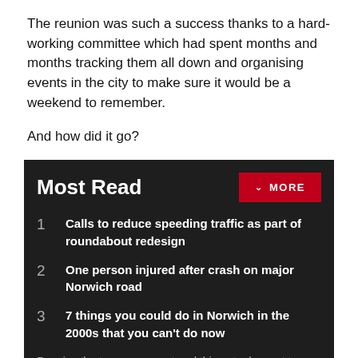The reunion was such a success thanks to a hard-working committee which had spent months and months tracking them all down and organising events in the city to make sure it would be a weekend to remember.
And how did it go?
Most Read
1 Calls to reduce speeding traffic as part of roundabout redesign
2 One person injured after crash on major Norwich road
3 7 things you could do in Norwich in the 2000s that you can't do now
Receive the top news, sport and things to do, sent to your